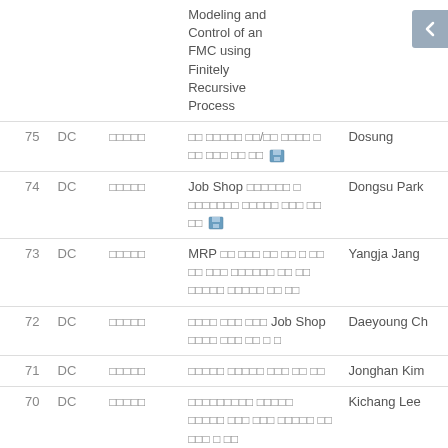| No | Type | Category | Title | Author |
| --- | --- | --- | --- | --- |
|  |  |  | Modeling and Control of an FMC using Finitely Recursive Process |  |
| 75 | DC | □□□□□ | □□ □□□□□ □□/□□ □□□□ □ □□ □□□ □□ □□ 💾 | Dosung |
| 74 | DC | □□□□□ | Job Shop □□□□□□ □ □□□□□□□ □□□□□ □□□ □□ □□ 💾 | Dongsu Park |
| 73 | DC | □□□□□ | MRP □□ □□□ □□ □□ □ □□ □□ □□□ □□□□□□ □□ □□ □□□□□ □□□□□ □□ □□ | Yangja Jang |
| 72 | DC | □□□□□ | □□□□ □□□ □□□ Job Shop □□□□ □□□ □□ □ □ | Daeyoung Ch |
| 71 | DC | □□□□□ | □□□□□ □□□□□ □□□ □□ □□ | Jonghan Kim |
| 70 | DC | □□□□□ | □□□□□□□□□ □□□□□ □□□□□ □□□ □□□ □□□□□ □□ □□□ □ □□ | Kichang Lee |